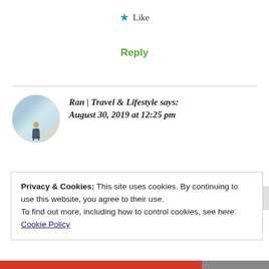★ Like
Reply
Ran | Travel & Lifestyle says:
August 30, 2019 at 12:25 pm
Congratulations! Haha, it seems like we've got a lot in common too. I also used to do ballet when I
Privacy & Cookies: This site uses cookies. By continuing to use this website, you agree to their use.
To find out more, including how to control cookies, see here: Cookie Policy
Close and accept